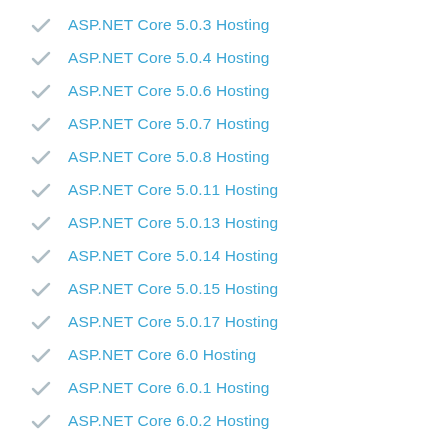ASP.NET Core 5.0.3 Hosting
ASP.NET Core 5.0.4 Hosting
ASP.NET Core 5.0.6 Hosting
ASP.NET Core 5.0.7 Hosting
ASP.NET Core 5.0.8 Hosting
ASP.NET Core 5.0.11 Hosting
ASP.NET Core 5.0.13 Hosting
ASP.NET Core 5.0.14 Hosting
ASP.NET Core 5.0.15 Hosting
ASP.NET Core 5.0.17 Hosting
ASP.NET Core 6.0 Hosting
ASP.NET Core 6.0.1 Hosting
ASP.NET Core 6.0.2 Hosting